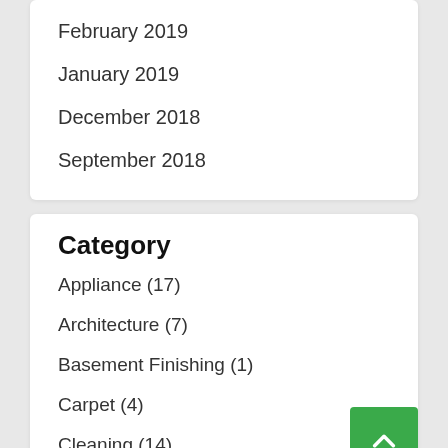February 2019
January 2019
December 2018
September 2018
Category
Appliance (17)
Architecture (7)
Basement Finishing (1)
Carpet (4)
Cleaning (14)